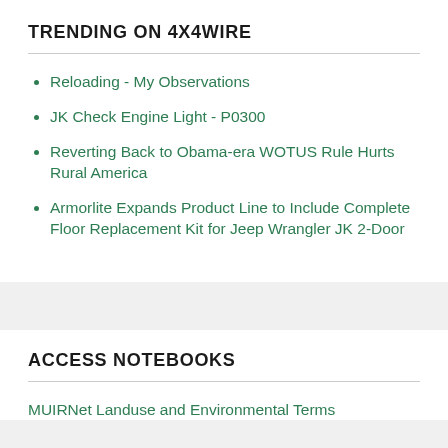TRENDING ON 4X4WIRE
Reloading - My Observations
JK Check Engine Light - P0300
Reverting Back to Obama-era WOTUS Rule Hurts Rural America
Armorlite Expands Product Line to Include Complete Floor Replacement Kit for Jeep Wrangler JK 2-Door
ACCESS NOTEBOOKS
MUIRNet Landuse and Environmental Terms